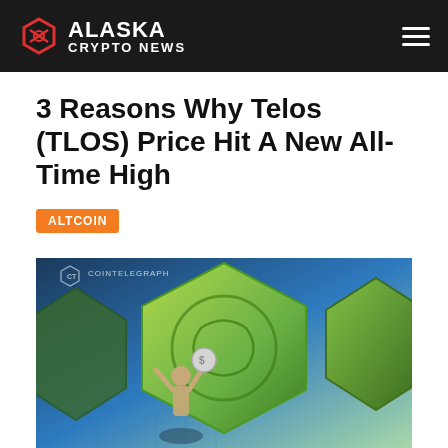Alaska Crypto News
3 Reasons Why Telos (TLOS) Price Hit A New All-Time High
ALTCOIN
[Figure (illustration): Illustrated image showing a person holding up a large green coin against a digital background, with large green hexagonal coin-like figures. Watermark: COINTELEGRAPH]